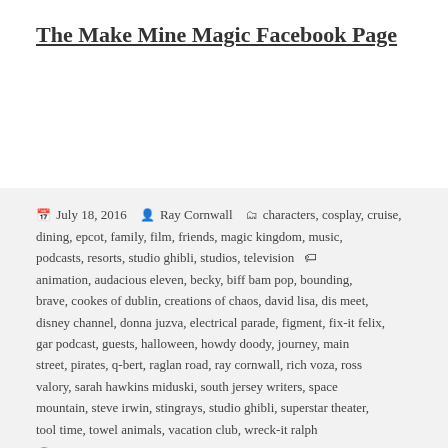The Make Mine Magic Facebook Page
July 18, 2016  Ray Cornwall  characters, cosplay, cruise, dining, epcot, family, film, friends, magic kingdom, music, podcasts, resorts, studio ghibli, studios, television  animation, audacious eleven, becky, biff bam pop, bounding, brave, cookes of dublin, creations of chaos, david lisa, dis meet, disney channel, donna juzva, electrical parade, figment, fix-it felix, gar podcast, guests, halloween, howdy doody, journey, main street, pirates, q-bert, raglan road, ray cornwall, rich voza, ross valory, sarah hawkins miduski, south jersey writers, space mountain, steve irwin, stingrays, studio ghibli, superstar theater, tool time, towel animals, vacation club, wreck-it ralph  2 Comments
Proudly powered by WordPress